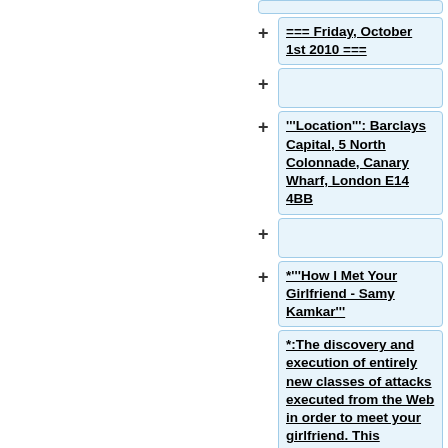=== Friday, October 1st 2010 ===
'''Location''': Barclays Capital, 5 North Colonnade, Canary Wharf, London E14 4BB
*'''How I Met Your Girlfriend - Samy Kamkar'''
*:The discovery and execution of entirely new classes of attacks executed from the Web in order to meet your girlfriend. This includes newly discovered attacks including